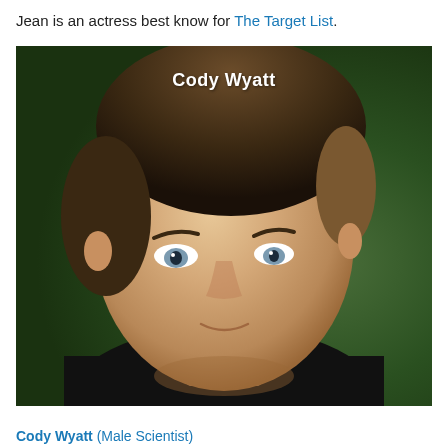Jean is an actress best know for The Target List.
[Figure (photo): Headshot photo of Cody Wyatt, a young man with dark styled hair and blue eyes wearing a black shirt, against a blurred green background. Name 'Cody Wyatt' displayed in bold white text near the top of the image.]
Cody Wyatt (Male Scientist)